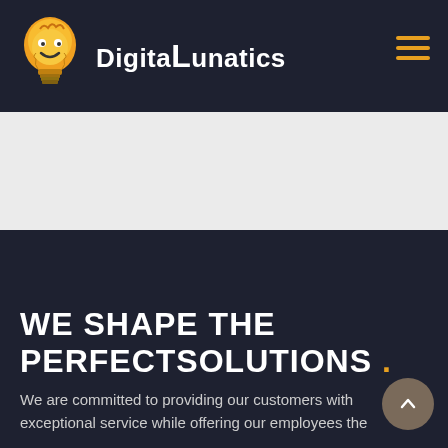[Figure (logo): Digital Lunatics logo: cartoon light bulb character with smiley face and text 'Digital Lunatics']
WE SHAPE THE PERFECTSOLUTIONS .
We are committed to providing our customers with exceptional service while offering our employees the